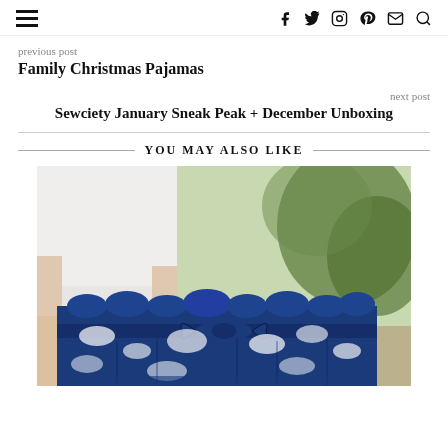navigation and social icons header
previous post
Family Christmas Pajamas
next post
Sewciety January Sneak Peak + December Unboxing
YOU MAY ALSO LIKE
[Figure (photo): Close-up photo of a person wearing a white top and blue and white floral/abstract print high-waisted shorts with a ruffled waistband and bow tie, outdoors with greenery in background.]